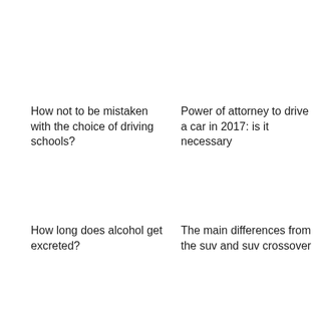How not to be mistaken with the choice of driving schools?
Power of attorney to drive a car in 2017: is it necessary
How long does alcohol get excreted?
The main differences from the suv and suv crossover